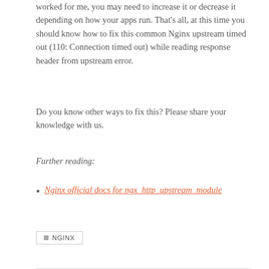worked for me, you may need to increase it or decrease it depending on how your apps run. That's all, at this time you should know how to fix this common Nginx upstream timed out (110: Connection timed out) while reading response header from upstream error.
Do you know other ways to fix this? Please share your knowledge with us.
Further reading:
Nginx official docs for ngx_http_upstream_module
NGINX